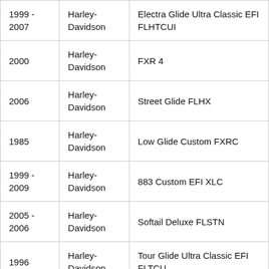| 1999 - 2007 | Harley-Davidson | Electra Glide Ultra Classic EFI FLHTCUI |
| 2000 | Harley-Davidson | FXR 4 |
| 2006 | Harley-Davidson | Street Glide FLHX |
| 1985 | Harley-Davidson | Low Glide Custom FXRC |
| 1999 - 2009 | Harley-Davidson | 883 Custom EFI XLC |
| 2005 - 2006 | Harley-Davidson | Softail Deluxe FLSTN |
| 1996 | Harley-Davidson | Tour Glide Ultra Classic EFI FLTCU |